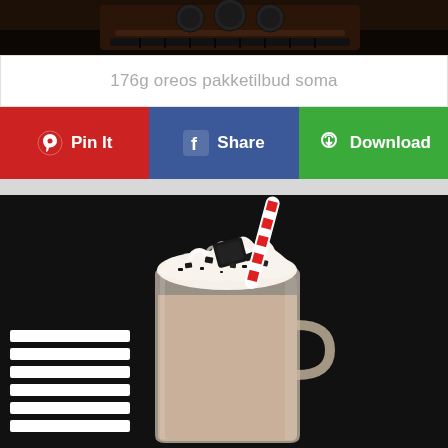[Figure (photo): Close-up of Oreo cookies packaging, dark brown tones]
176g oreos pakketilbud soma
[Figure (infographic): Three social sharing buttons: Pin It (red, Pinterest), Share (blue, Facebook), Download (green)]
[Figure (photo): Oreo milkshake in a glass mug topped with whipped cream, crushed Oreo cookies, and a red and white striped straw. Dark background with black and white striped object on left.]